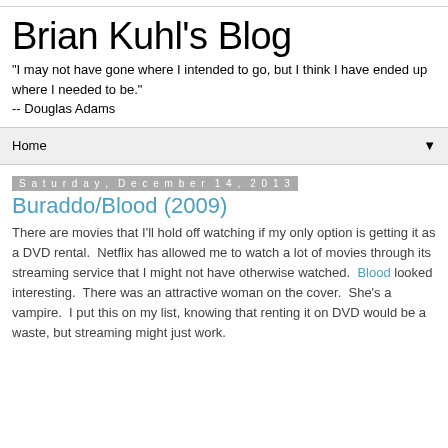Brian Kuhl's Blog
"I may not have gone where I intended to go, but I think I have ended up where I needed to be."
-- Douglas Adams
Home
Saturday, December 14, 2013
Buraddo/Blood (2009)
There are movies that I'll hold off watching if my only option is getting it as a DVD rental.  Netflix has allowed me to watch a lot of movies through its streaming service that I might not have otherwise watched.  Blood looked interesting.  There was an attractive woman on the cover.  She's a vampire.  I put this on my list, knowing that renting it on DVD would be a waste, but streaming might just work.